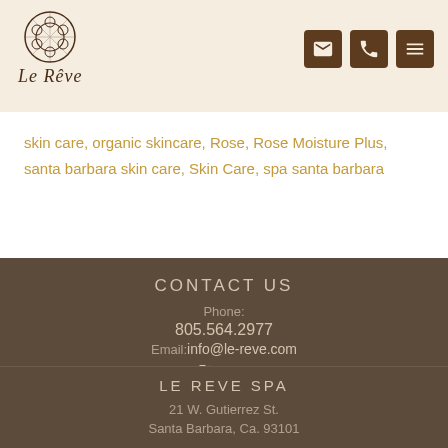[Figure (logo): Le Reve spa logo with decorative circle and cursive text]
skin care, organic skincare, Rose, Rose Moisture Plus, santa barbara skin care, Skin Care, spa santa barbara
CONTACT US
Phone:
805.564.2977
Email: info@le-reve.com
[Figure (illustration): Social media icons: Twitter, Facebook, Google+]
LE REVE SPA
21 W. Gutierrez St. Santa Barbara, Ca. 93101